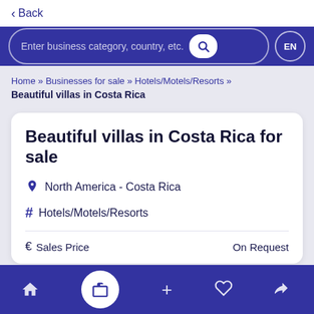< Back
Enter business category, country, etc.
Home » Businesses for sale » Hotels/Motels/Resorts » Beautiful villas in Costa Rica
Beautiful villas in Costa Rica for sale
North America - Costa Rica
Hotels/Motels/Resorts
€  Sales Price    On Request